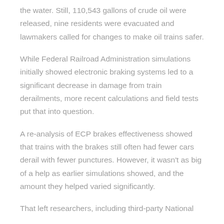the water. Still, 110,543 gallons of crude oil were released, nine residents were evacuated and lawmakers called for changes to make oil trains safer.
While Federal Railroad Administration simulations initially showed electronic braking systems led to a significant decrease in damage from train derailments, more recent calculations and field tests put that into question.
A re-analysis of ECP brakes effectiveness showed that trains with the brakes still often had fewer cars derail with fewer punctures. However, it wasn't as big of a help as earlier simulations showed, and the amount they helped varied significantly.
That left researchers, including third-party National